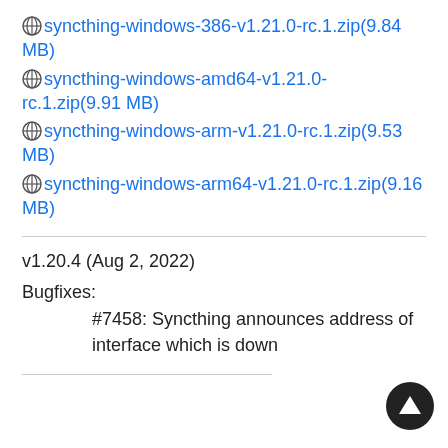⊕syncthing-windows-386-v1.21.0-rc.1.zip(9.84 MB)
⊕syncthing-windows-amd64-v1.21.0-rc.1.zip(9.91 MB)
⊕syncthing-windows-arm-v1.21.0-rc.1.zip(9.53 MB)
⊕syncthing-windows-arm64-v1.21.0-rc.1.zip(9.16 MB)
v1.20.4 (Aug 2, 2022)
Bugfixes:
#7458: Syncthing announces address of interface which is down